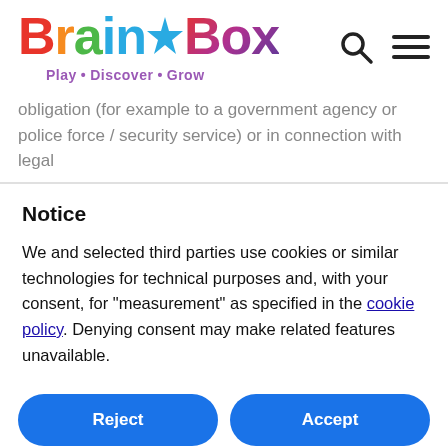BrainBox — Play · Discover · Grow
obligation (for example to a government agency or police force / security service) or in connection with legal
Notice
We and selected third parties use cookies or similar technologies for technical purposes and, with your consent, for "measurement" as specified in the cookie policy. Denying consent may make related features unavailable.
Reject
Accept
Learn more and customise